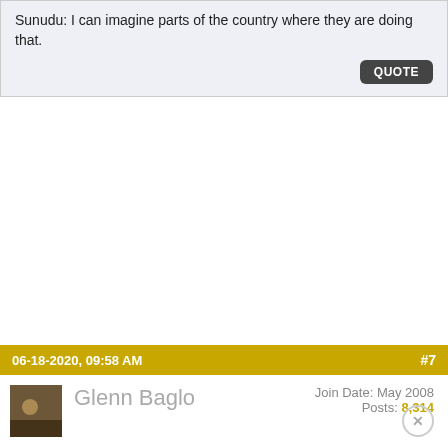Sunudu: I can imagine parts of the country where they are doing that.
QUOTE
06-18-2020, 09:58 AM
#7
Glenn Baglo
Join Date: May 2008
Posts: 8,314
Quote: